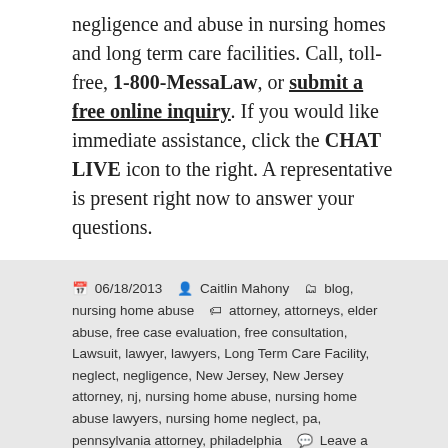negligence and abuse in nursing homes and long term care facilities. Call, toll-free, 1-800-MessaLaw, or submit a free online inquiry. If you would like immediate assistance, click the CHAT LIVE icon to the right. A representative is present right now to answer your questions.
06/18/2013  Caitlin Mahony  blog, nursing home abuse  attorney, attorneys, elder abuse, free case evaluation, free consultation, Lawsuit, lawyer, lawyers, Long Term Care Facility, neglect, negligence, New Jersey, New Jersey attorney, nj, nursing home abuse, nursing home abuse lawyers, nursing home neglect, pa, pennsylvania attorney, philadelphia  Leave a comment
Nursing Home Abuse Lawyers: Facility Wrongly Assumed DNR